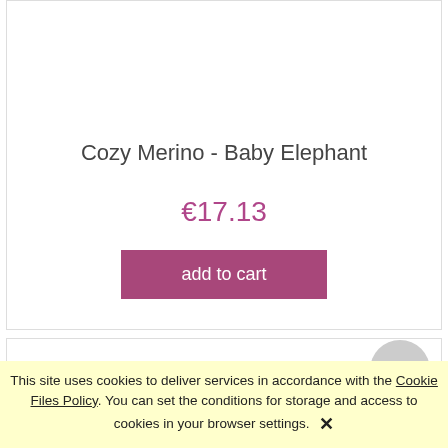Cozy Merino - Baby Elephant
€17.13
add to cart
This site uses cookies to deliver services in accordance with the Cookie Files Policy. You can set the conditions for storage and access to cookies in your browser settings. ✕